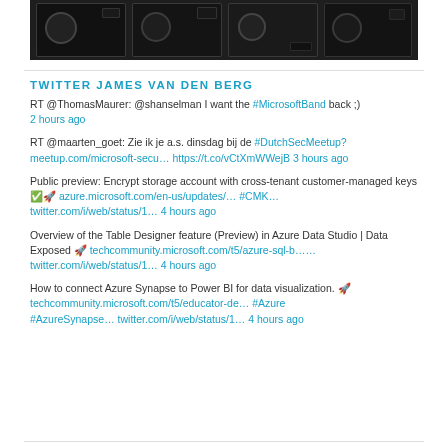[Figure (photo): Row of professional video cameras in dark tones]
TWITTER JAMES VAN DEN BERG
RT @ThomasMaurer: @shanselman I want the #MicrosoftBand back ;) 2 hours ago
RT @maarten_goet: Zie ik je a.s. dinsdag bij de #DutchSecMeetup? meetup.com/microsoft-secu… https://t.co/vCtXmWWejB 3 hours ago
Public preview: Encrypt storage account with cross-tenant customer-managed keys ✅🚀 azure.microsoft.com/en-us/updates/… #CMK… twitter.com/i/web/status/1… 4 hours ago
Overview of the Table Designer feature (Preview) in Azure Data Studio | Data Exposed 🚀 techcommunity.microsoft.com/t5/azure-sql-b…… twitter.com/i/web/status/1… 4 hours ago
How to connect Azure Synapse to Power BI for data visualization. 🚀 techcommunity.microsoft.com/t5/educator-de… #Azure #AzureSynapse… twitter.com/i/web/status/1… 4 hours ago